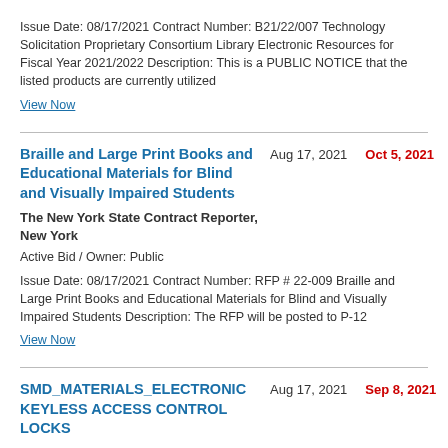Issue Date: 08/17/2021 Contract Number: B21/22/007 Technology Solicitation Proprietary Consortium Library Electronic Resources for Fiscal Year 2021/2022 Description: This is a PUBLIC NOTICE that the listed products are currently utilized
View Now
Braille and Large Print Books and Educational Materials for Blind and Visually Impaired Students
Aug 17, 2021
Oct 5, 2021
The New York State Contract Reporter, New York
Active Bid / Owner: Public
Issue Date: 08/17/2021 Contract Number: RFP # 22-009 Braille and Large Print Books and Educational Materials for Blind and Visually Impaired Students Description: The RFP will be posted to P-12
View Now
SMD_MATERIALS_ELECTRONIC KEYLESS ACCESS CONTROL LOCKS
Aug 17, 2021
Sep 8, 2021